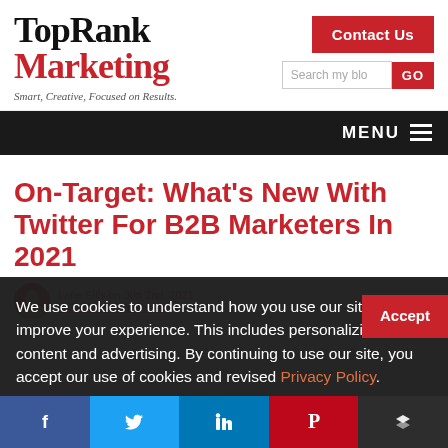[Figure (logo): TopRank Marketing logo with tagline 'Smart, Creative, Focused on Results.']
Contact Us
Search my blog GO
MENU
On-Target: What's New With Twitter For B2B Marketers In 2021
Lane Ellis on Jun 2nd, 2021
B2B Marketing, Twitter
We use cookies to understand how you use our site and to improve your experience. This includes personalizing content and advertising. By continuing to use our site, you accept our use of cookies and revised Privacy Policy.
Accept